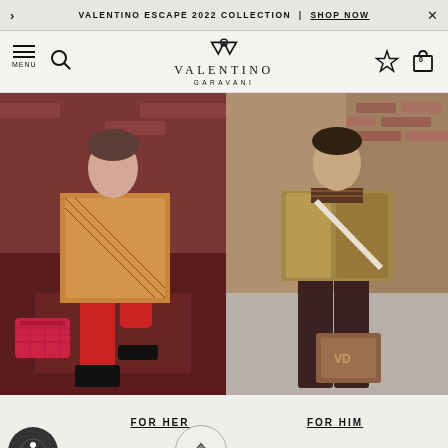VALENTINO ESCAPE 2022 COLLECTION | SHOP NOW
[Figure (logo): Valentino Garavani logo with V-shaped interlocked icon above the text VALENTINO GARAVANI]
[Figure (photo): Fashion editorial photo of a woman in a patterned jacket with red tights sitting on a patterned armchair holding a red quilted bag, wearing black platform shoes]
[Figure (photo): Fashion editorial photo of a man in a metallic bomber jacket with scarf, white shirt and dark trousers, holding a brown VLogo bag, standing on a street]
FOR HER
FOR HIM